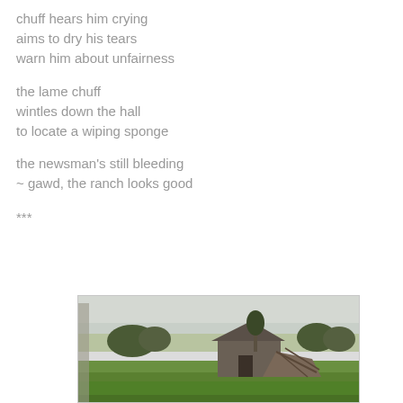chuff hears him crying
aims to dry his tears
warn him about unfairness

the lame chuff
wintles down the hall
to locate a wiping sponge

the newsman's still bleeding
~ gawd, the ranch looks good

***
[Figure (photo): A dilapidated old wooden barn or farmhouse with a collapsed section, surrounded by green grass and bare trees under an overcast sky. Rural ranch landscape.]